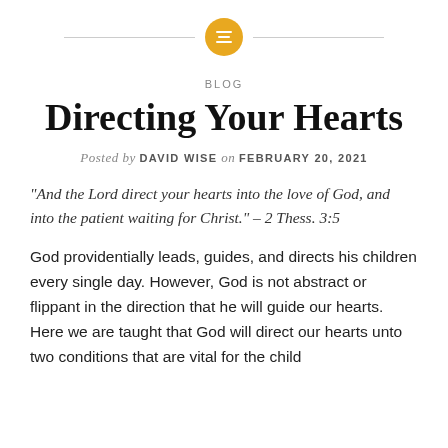[Figure (illustration): Golden circular icon with horizontal lines (menu/list icon), flanked by thin horizontal divider lines on each side]
BLOG
Directing Your Hearts
Posted by DAVID WISE on FEBRUARY 20, 2021
“And the Lord direct your hearts into the love of God, and into the patient waiting for Christ.” – 2 Thess. 3:5
God providentially leads, guides, and directs his children every single day. However, God is not abstract or flippant in the direction that he will guide our hearts. Here we are taught that God will direct our hearts unto two conditions that are vital for the child